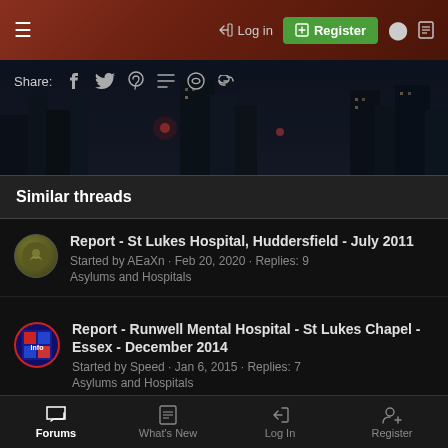Log in | Register
[Figure (screenshot): Share bar with social media icons over a dark city night background image]
Similar threads
Report - St Lukes Hospital, Huddersfield - July 2011 · Started by AEaXn · Feb 20, 2020 · Replies: 9 · Asylums and Hospitals
Report - Runwell Mental Hospital - St Lukes Chapel - Essex - December 2014 · Started by Speed · Jan 6, 2015 · Replies: 7 · Asylums and Hospitals
Report - St Lukes Hospital, Huddersfield. March 2013 · Started by LadiesoftheManor · May 7, 2013 · Replies: 0
Forums | What's New | Log In | Register